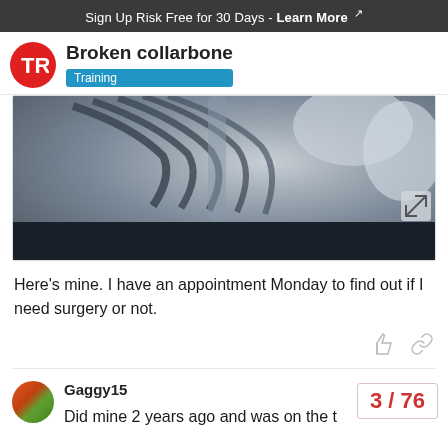Sign Up Risk Free for 30 Days - Learn More ↗
Broken collarbone
Training
[Figure (photo): X-ray image of a chest/collarbone area showing ribs and shoulder bones in grayscale]
Here's mine. I have an appointment Monday to find out if I need surgery or not.
Gaggy15
Did mine 2 years ago and was on the t
3 / 76